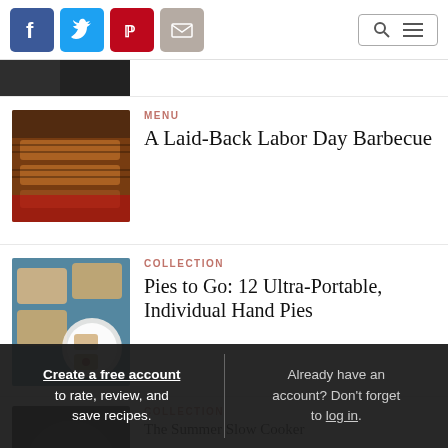Social share icons: Facebook, Twitter, Pinterest, Email; Search and Menu buttons
[Figure (photo): Partial food photo at top (cut off)]
MENU
A Laid-Back Labor Day Barbecue
[Figure (photo): Photo of grilled BBQ ribs on a red tray]
COLLECTION
Pies to Go: 12 Ultra-Portable, Individual Hand Pies
[Figure (photo): Photo of hand pies on blue tray with white plate]
COLLECTION
The Summer Slow Cooker
Create a free account to rate, review, and save recipes. Already have an account? Don't forget to log in.